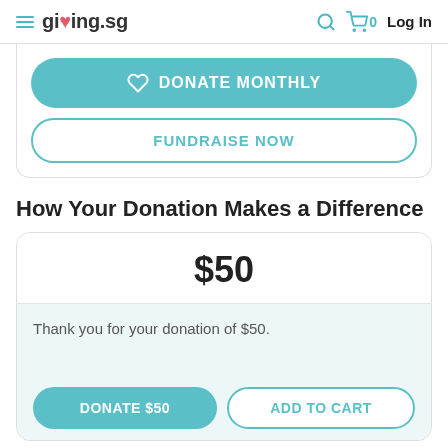giving.sg  Log In
[Figure (screenshot): DONATE MONTHLY button (teal, rounded) and FUNDRAISE NOW button (white with teal border, rounded)]
How Your Donation Makes a Difference
[Figure (infographic): Donation card showing $50 amount and thank you message with DONATE $50 and ADD TO CART buttons]